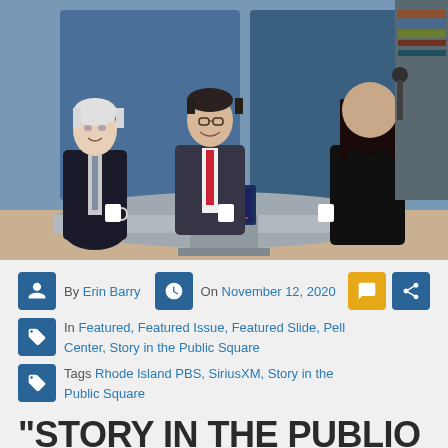[Figure (photo): Three people seated at a round studio desk with 'Story in the Public Square' branding on a screen. A man with white hair on the left, a man in a suit with a red tie in the center, and a woman with dark hair on the right.]
By Erin Barry  On November 12, 2020
In Featured, Featured Issue, Featured Slide, Pell Center, Story in the Public Square
Tags Rhode Island PBS, SiriusXM, Story in the Public Square
"STORY IN THE PUBLIC